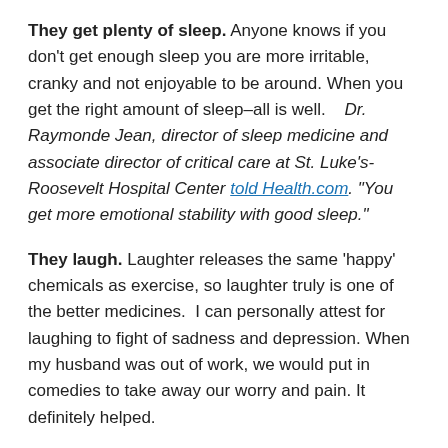They get plenty of sleep. Anyone knows if you don't get enough sleep you are more irritable, cranky and not enjoyable to be around. When you get the right amount of sleep–all is well.    Dr. Raymonde Jean, director of sleep medicine and associate director of critical care at St. Luke's-Roosevelt Hospital Center told Health.com. "You get more emotional stability with good sleep."
They laugh. Laughter releases the same 'happy' chemicals as exercise, so laughter truly is one of the better medicines.  I can personally attest for laughing to fight of sadness and depression. When my husband was out of work, we would put in comedies to take away our worry and pain. It definitely helped.
They TRY to be happy. You have often heard the phrase–"fake